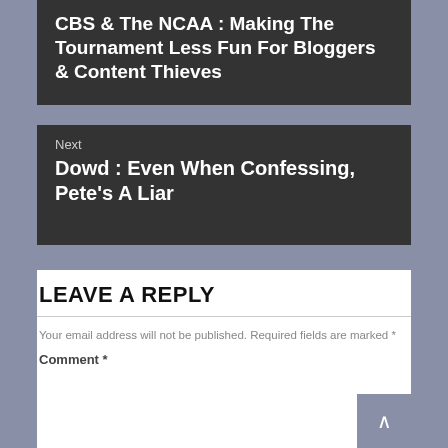CBS & The NCAA : Making The Tournament Less Fun For Bloggers & Content Thieves
Next
Dowd : Even When Confessing, Pete’s A Liar
LEAVE A REPLY
Your email address will not be published. Required fields are marked *
Comment *